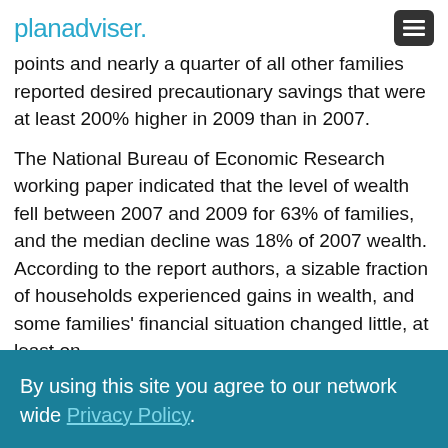planadviser.
points and nearly a quarter of all other families reported desired precautionary savings that were at least 200% higher in 2009 than in 2007.
The National Bureau of Economic Research working paper indicated that the level of wealth fell between 2007 and 2009 for 63% of families, and the median decline was 18% of 2007 wealth.
According to the report authors, a sizable fraction of households experienced gains in wealth, and some families' financial situation changed little, at least on
By using this site you agree to our network wide Privacy Policy.